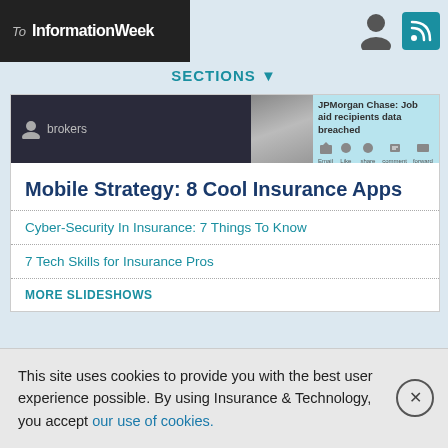To InformationWeek
SECTIONS
[Figure (screenshot): Website banner with brokers section and JPMorgan Chase job aid recipients data breached news item]
Mobile Strategy: 8 Cool Insurance Apps
Cyber-Security In Insurance: 7 Things To Know
7 Tech Skills for Insurance Pros
MORE SLIDESHOWS
VIDEO
[Figure (screenshot): Two video thumbnails partially visible]
This site uses cookies to provide you with the best user experience possible. By using Insurance & Technology, you accept our use of cookies.